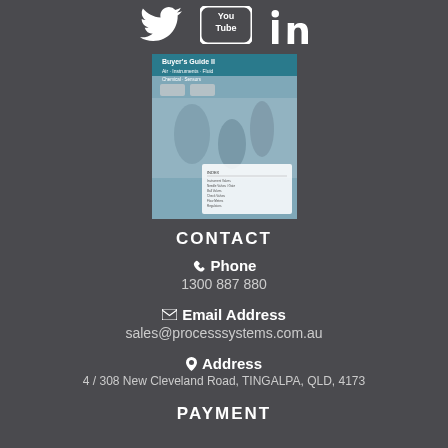[Figure (illustration): Social media icons: Twitter bird, YouTube logo, LinkedIn logo in white on dark background]
[Figure (photo): Buyer's Guide II booklet cover showing industrial pipes and a table of contents]
CONTACT
Phone
1300 887 880
Email Address
sales@processsystems.com.au
Address
4 / 308 New Cleveland Road, TINGALPA, QLD, 4173
PAYMENT